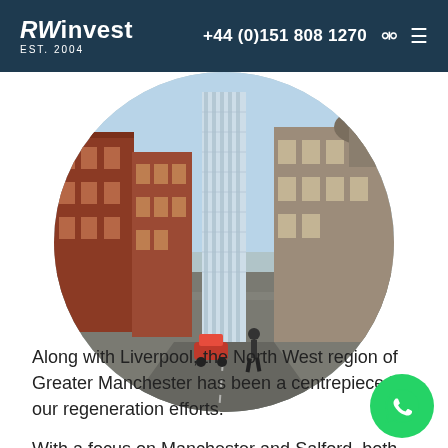RWinvest EST. 2004 | +44 (0)151 808 1270
[Figure (photo): Circular cropped photo of a Manchester city street scene with historic red-brick buildings, a tall modern glass skyscraper in the background, and people and cars on the street.]
Along with Liverpool, the North West region of Greater Manchester has been a centrepiece in our regeneration efforts.
With a focus on Manchester and Salford, both cities have some of the highest recorded capital growth in the